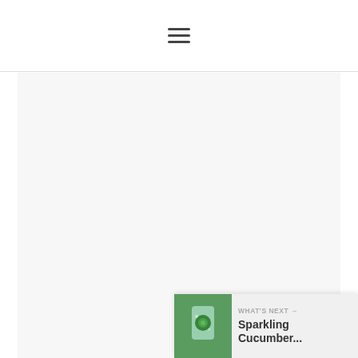hamburger menu icon
[Figure (photo): Large mostly white/light gray image area with fresh green mint/herb leaves visible at the bottom portion, photographed against a dark slate/black surface. A 'What's Next' overlay card appears at the bottom right showing a cucumber drink thumbnail with text 'WHAT'S NEXT → Sparkling Cucumber...']